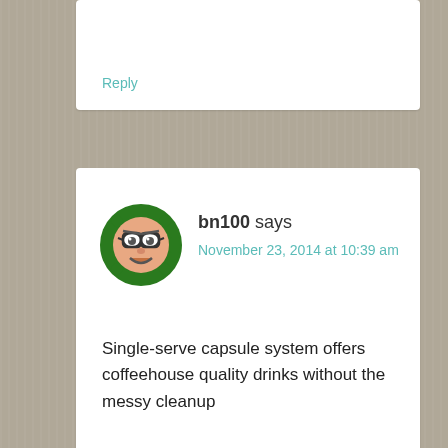Reply
[Figure (illustration): Green circular avatar with a cartoon gear/robot face wearing glasses, for user bn100]
bn100 says
November 23, 2014 at 10:39 am
Single-serve capsule system offers coffeehouse quality drinks without the messy cleanup
Reply
[Figure (illustration): Olive/brown circular avatar with a cartoon star-shaped face wearing glasses, for user Kirsten]
Kirsten says
November 23, 2014 at 1:41 pm